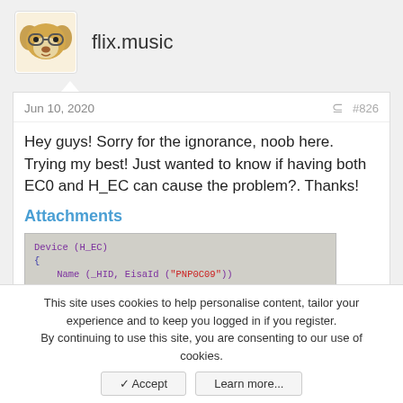flix.music
Jun 10, 2020  #826
Hey guys! Sorry for the ignorance, noob here. Trying my best! Just wanted to know if having both EC0 and H_EC can cause the problem?. Thanks!
Attachments
[Figure (screenshot): Screenshot of ACPI code showing Device (H_EC) and Device (EC0) definitions with Name and Method entries in monospace blue/purple text on a gray background]
This site uses cookies to help personalise content, tailor your experience and to keep you logged in if you register.
By continuing to use this site, you are consenting to our use of cookies.